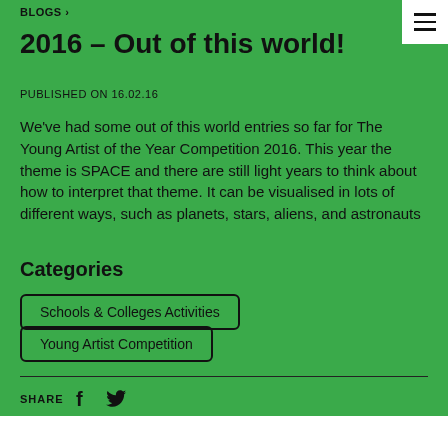BLOGS >
2016 – Out of this world!
PUBLISHED ON 16.02.16
We've had some out of this world entries so far for The Young Artist of the Year Competition 2016. This year the theme is SPACE and there are still light years to think about how to interpret that theme. It can be visualised in lots of different ways, such as planets, stars, aliens, and astronauts
Categories
Schools & Colleges Activities
Young Artist Competition
SHARE